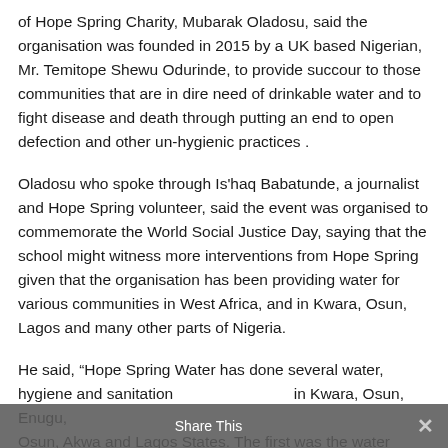of Hope Spring Charity, Mubarak Oladosu, said the organisation was founded in 2015 by a UK based Nigerian, Mr. Temitope Shewu Odurinde, to provide succour to those communities that are in dire need of drinkable water and to fight disease and death through putting an end to open defection and other un-hygienic practices .
Oladosu who spoke through Is'haq Babatunde, a journalist and Hope Spring volunteer, said the event was organised to commemorate the World Social Justice Day, saying that the school might witness more interventions from Hope Spring given that the organisation has been providing water for various communities in West Africa, and in Kwara, Osun, Lagos and many other parts of Nigeria.
He said, “Hope Spring Water has done several water, hygiene and sanitation projects in Kwara, Osun, Enugu, Osun, Akwa and Lagos States. The first was the water...
Share This  ×